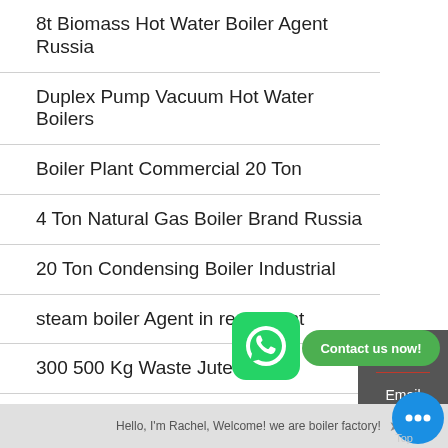8t Biomass Hot Water Boiler Agent Russia
Duplex Pump Vacuum Hot Water Boilers
Boiler Plant Commercial 20 Ton
4 Ton Natural Gas Boiler Brand Russia
20 Ton Condensing Boiler Industrial
steam boiler Agent in restaurant
300 500 Kg Waste Jute Boiler
Seller 2 Ton Biomass Boiler
Electrical Steam Boilers And Garment
HOT N
Chat
Email
Contact
Hello, I'm Rachel, Welcome! we are boiler factory!
[Figure (illustration): WhatsApp green circular button icon]
Contact us now!
[Figure (illustration): Blue chat bubble button with three dots]
Top